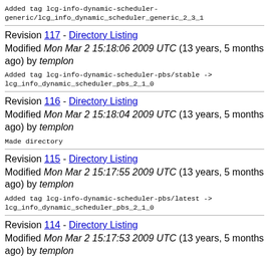Added tag lcg-info-dynamic-scheduler-generic/lcg_info_dynamic_scheduler_generic_2_3_1
Revision 117 - Directory Listing
Modified Mon Mar 2 15:18:06 2009 UTC (13 years, 5 months ago) by templon
Added tag lcg-info-dynamic-scheduler-pbs/stable ->
lcg_info_dynamic_scheduler_pbs_2_1_0
Revision 116 - Directory Listing
Modified Mon Mar 2 15:18:04 2009 UTC (13 years, 5 months ago) by templon
Made directory
Revision 115 - Directory Listing
Modified Mon Mar 2 15:17:55 2009 UTC (13 years, 5 months ago) by templon
Added tag lcg-info-dynamic-scheduler-pbs/latest ->
lcg_info_dynamic_scheduler_pbs_2_1_0
Revision 114 - Directory Listing
Modified Mon Mar 2 15:17:53 2009 UTC (13 years, 5 months ago) by templon